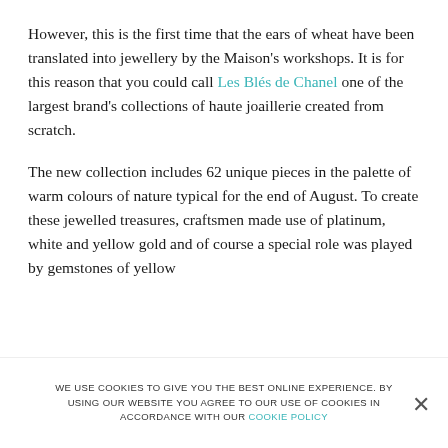However, this is the first time that the ears of wheat have been translated into jewellery by the Maison's workshops. It is for this reason that you could call Les Blés de Chanel one of the largest brand's collections of haute joaillerie created from scratch.
The new collection includes 62 unique pieces in the palette of warm colours of nature typical for the end of August. To create these jewelled treasures, craftsmen made use of platinum, white and yellow gold and of course a special role was played by gemstones of yellow
WE USE COOKIES TO GIVE YOU THE BEST ONLINE EXPERIENCE. BY USING OUR WEBSITE YOU AGREE TO OUR USE OF COOKIES IN ACCORDANCE WITH OUR COOKIE POLICY